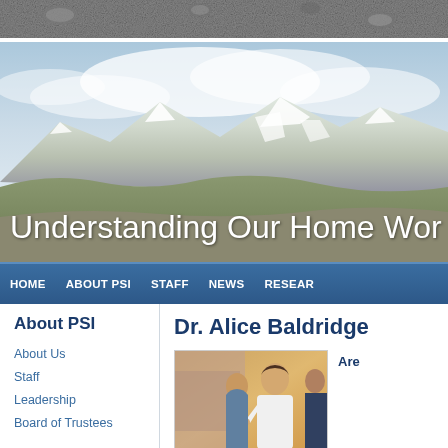[Figure (photo): Top rocky/lunar textured surface strip]
[Figure (photo): Hero banner showing mountain landscape with clouds and glaciers, with text 'Understanding Our Home Wor...' overlaid in white]
HOME  ABOUT PSI  STAFF  NEWS  RESEAR...
About PSI
About Us
Staff
Leadership
Board of Trustees
Dr. Alice Baldridge
[Figure (photo): Photo of Dr. Alice Baldridge examining a rock face with two other people]
Are